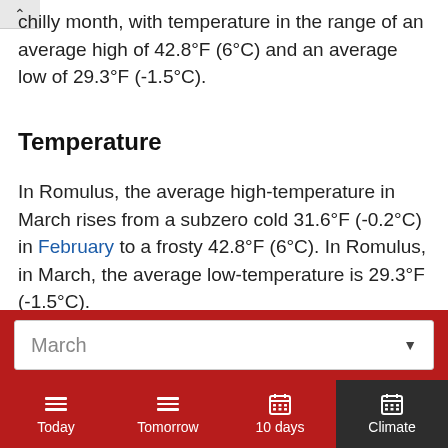chilly month, with temperature in the range of an average high of 42.8°F (6°C) and an average low of 29.3°F (-1.5°C).
Temperature
In Romulus, the average high-temperature in March rises from a subzero cold 31.6°F (-0.2°C) in February to a frosty 42.8°F (6°C). In Romulus, in March, the average low-temperature is 29.3°F (-1.5°C).
March
Today | Tomorrow | 10 days | Climate